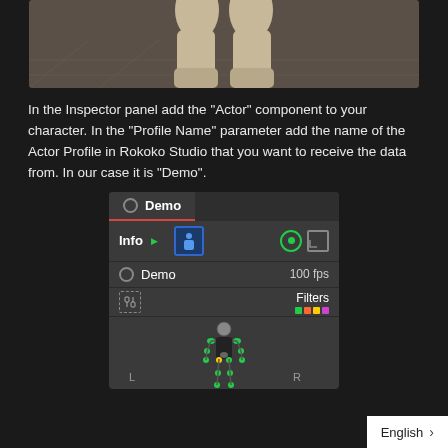[Figure (screenshot): 3D character feet/legs render in a dark viewport with grid floor]
In the Inspector panel add the "Actor" component to your character. In the "Profile Name" parameter add the name of the Actor Profile in Rokoko Studio that you want to receive the data from. In our case it is "Demo".
[Figure (screenshot): Rokoko Studio UI panel showing Demo actor profile tab, Info row with person icon and target icon, Demo with 100 fps, Filters row with colored dots, and a skeleton figure with L and R labels]
English >